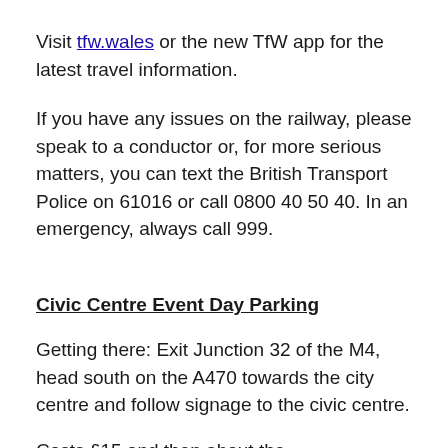Visit tfw.wales or the new TfW app for the latest travel information.
If you have any issues on the railway, please speak to a conductor or, for more serious matters, you can text the British Transport Police on 61016 or call 0800 40 50 40. In an emergency, always call 999.
Civic Centre Event Day Parking
Getting there: Exit Junction 32 of the M4, head south on the A470 towards the city centre and follow signage to the civic centre.
Costs £15 and then...